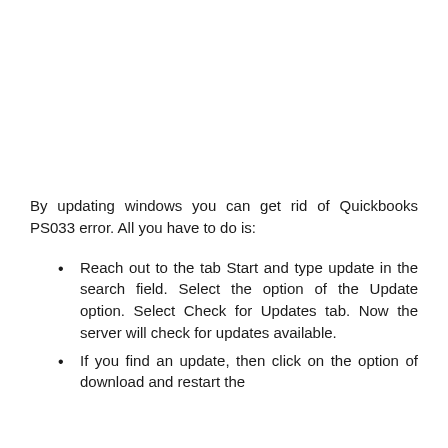By updating windows you can get rid of Quickbooks PS033 error. All you have to do is:
Reach out to the tab Start and type update in the search field. Select the option of the Update option. Select Check for Updates tab. Now the server will check for updates available.
If you find an update, then click on the option of download and restart the